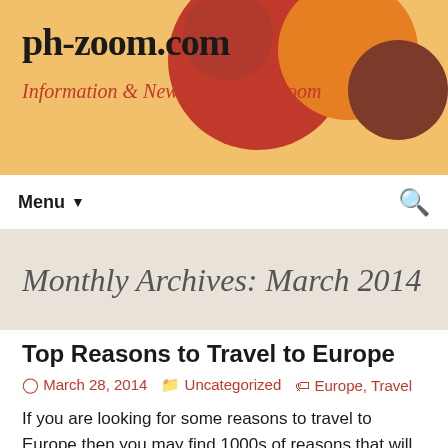ph-zoom.com
Information & News by Phuket Zoom
Monthly Archives: March 2014
Top Reasons to Travel to Europe
March 28, 2014   Uncategorized   Europe, Travel
If you are looking for some reasons to travel to Europe then you may find 1000s of reasons that will attract you to Europe and let you explore it. Here are a few reasons that we have sorted out for you so that you can make a decision